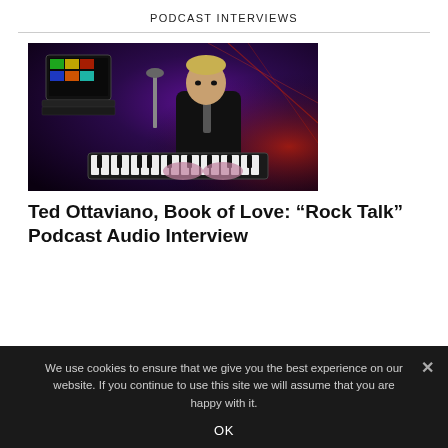PODCAST INTERVIEWS
[Figure (photo): A man in a dark suit playing a keyboard/synthesizer on a dark stage with purple and red lighting; a laptop with colorful screen is visible in the background.]
Ted Ottaviano, Book of Love: “Rock Talk” Podcast Audio Interview
We use cookies to ensure that we give you the best experience on our website. If you continue to use this site we will assume that you are happy with it.
OK